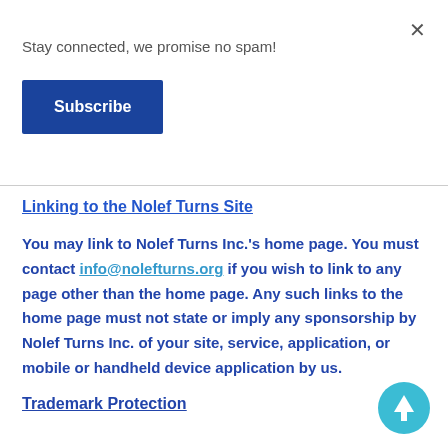Stay connected, we promise no spam!
Subscribe
Linking to the Nolef Turns Site
You may link to Nolef Turns Inc.'s home page. You must contact info@nolefturns.org if you wish to link to any page other than the home page. Any such links to the home page must not state or imply any sponsorship by Nolef Turns Inc. of your site, service, application, or mobile or handheld device application by us.
Trademark Protection